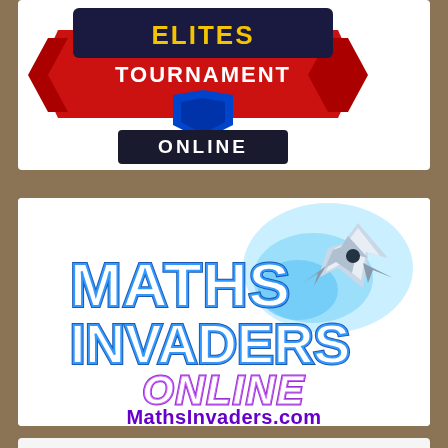[Figure (logo): Partially visible game logo for 'Tournament Online' with red ribbon banner, blue/gold badge, and 'ONLINE' text on dark background]
[Figure (logo): Maths Invaders Online logo — large blue outlined 3D text 'MATHS INVADERS' with 'ONLINE' below, blue glowing spaceship in upper right, and 'MathsInvaders.com' in purple below]
Kidztype
Fun Typing Games